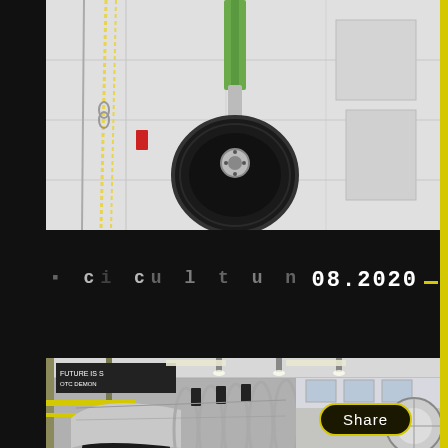[Figure (photo): Close-up photograph of an aircraft landing gear with a large black rubber tire, metallic strut, and green-painted components, suspended in a hangar. Wiring and chains visible in background.]
08.2020
[Figure (photo): Interior of an aircraft manufacturing facility showing a large metallic fuselage/tube assembly in the foreground, with open circular frames. Industrial hangar space visible in background with 'FUTURE IS S...' signage and workers.]